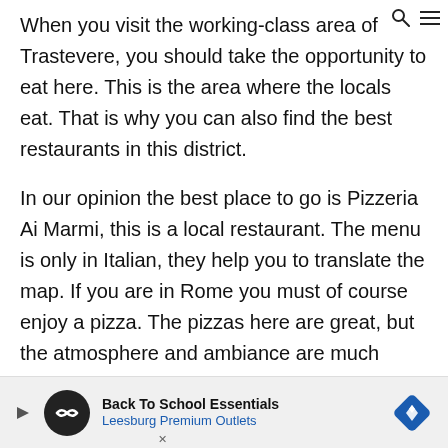🔍 ≡
When you visit the working-class area of Trastevere, you should take the opportunity to eat here. This is the area where the locals eat. That is why you can also find the best restaurants in this district.
In our opinion the best place to go is Pizzeria Ai Marmi, this is a local restaurant. The menu is only in Italian, they help you to translate the map. If you are in Rome you must of course enjoy a pizza. The pizzas here are great, but the atmosphere and ambiance are much better. If you're looking for a local eatery, this is your place...
[Figure (infographic): Advertisement banner for Back To School Essentials at Leesburg Premium Outlets with a circular logo and blue diamond icon]